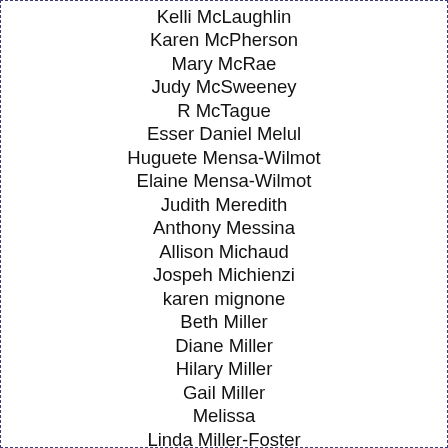Kelli McLaughlin
Karen McPherson
Mary McRae
Judy McSweeney
R McTague
Esser Daniel Melul
Huguete Mensa-Wilmot
Elaine Mensa-Wilmot
Judith Meredith
Anthony Messina
Allison Michaud
Jospeh Michienzi
karen mignone
Beth Miller
Diane Miller
Hilary Miller
Gail Miller
Melissa
Linda Miller-Foster
Cynthia Mills
Michael Minigan
Susan Miron